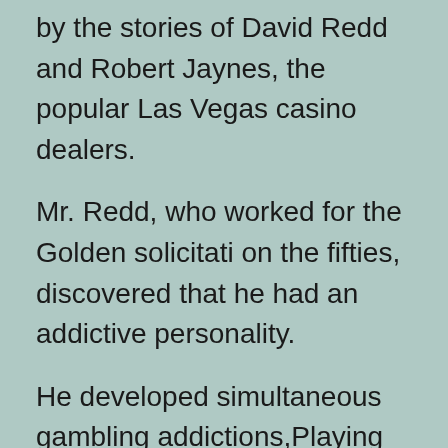by the stories of David Redd and Robert Jaynes, the popular Las Vegas casino dealers.
Mr. Redd, who worked for the Golden solicitation the fifties, discovered that he had an addictive personality.
He developed simultaneous gambling addictions,Playing the slots, craps and bingo. In the event that either of these instincts were to carry the day, he would then, quite dramatically, drive to the nearest, and sometimes the most extreme, gambling saloons.